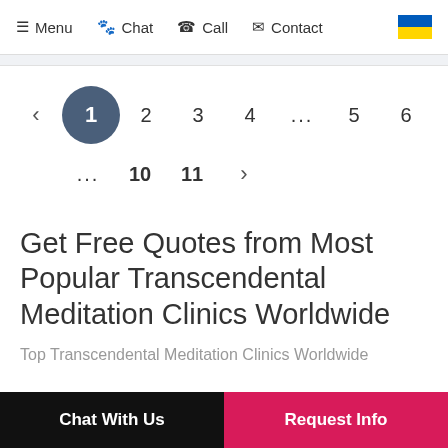Menu  Chat  Call  Contact
[Figure (infographic): Pagination navigation showing: left arrow, page 1 (active, highlighted circle), 2, 3, 4, ..., 5, 6 on first row; ..., 10, 11, right arrow on second row]
Get Free Quotes from Most Popular Transcendental Meditation Clinics Worldwide
Top Transcendental Meditation Clinics Worldwide
Chat With Us   Request Info